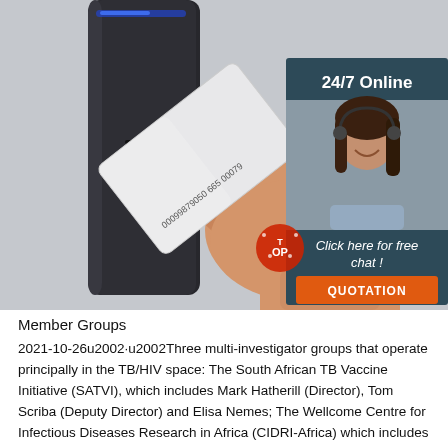[Figure (photo): A hand holding a white proximity access card up to a dark card reader device. The card shows numbers '00099879050 665 00079'. On the right side is an advertisement panel with '24/7 Online' text, a photo of a woman with a headset, 'Click here for free chat!' text, and an orange 'QUOTATION' button. A 'TOP' watermark badge appears in the lower right of the image area.]
Member Groups
2021-10-26u2002·u2002Three multi-investigator groups that operate principally in the TB/HIV space: The South African TB Vaccine Initiative (SATVI), which includes Mark Hatherill (Director), Tom Scriba (Deputy Director) and Elisa Nemes; The Wellcome Centre for Infectious Diseases Research in Africa (CIDRI-Africa) which includes